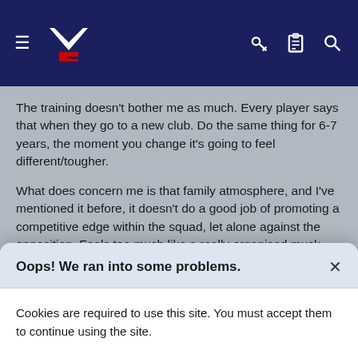[Figure (screenshot): Navigation bar with hamburger menu, NZ logo (navy/white/red), key icon, clipboard icon, and search icon on dark navy background]
The training doesn't bother me as much. Every player says that when they go to a new club. Do the same thing for 6-7 years, the moment you change it's going to feel different/tougher.

What does concern me is that family atmosphere, and I've mentioned it before, it doesn't do a good job of promoting a competitive edge within the squad, let alone against the opposition. Feels too much like a really organised muck around game at the family barbeque.
Sup42
Reply
Oops! We ran into some problems.
Cookies are required to use this site. You must accept them to continue using the site.